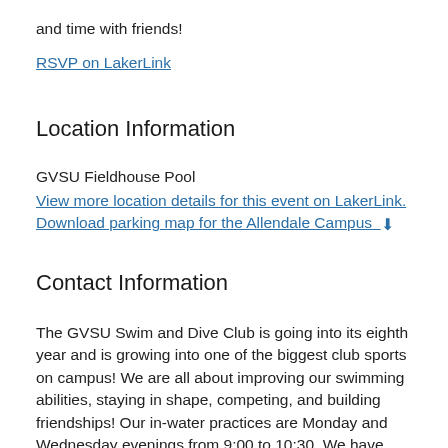and time with friends!
RSVP on LakerLink
Location Information
GVSU Fieldhouse Pool
View more location details for this event on LakerLink.
Download parking map for the Allendale Campus
Contact Information
The GVSU Swim and Dive Club is going into its eighth year and is growing into one of the biggest club sports on campus! We are all about improving our swimming abilities, staying in shape, competing, and building friendships! Our in-water practices are Monday and Wednesday evenings from 9:00 to 10:30. We have dryland workouts on Tuesdays and Thursdays from 7:00 to 9:30